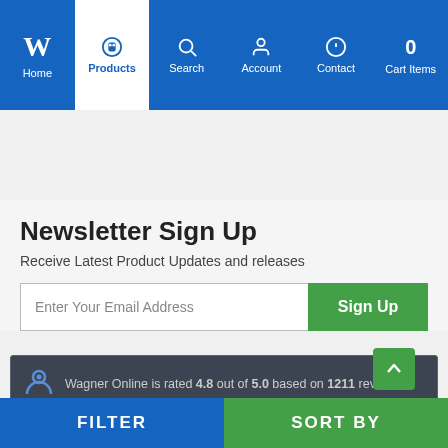Navigation bar: Home, Products (active), Search, Account, Contact, Cart Items (0)
[Figure (other): Payment method logos: Visa, MasterCard, American Express, PayPal]
Newsletter Sign Up
Receive Latest Product Updates and releases
Enter Your Email Address | Sign Up
Wagner Online is rated 4.8 out of 5.0 based on 1211 reviews.
[Figure (other): Five gold star rating icons]
FILTER | SORT BY